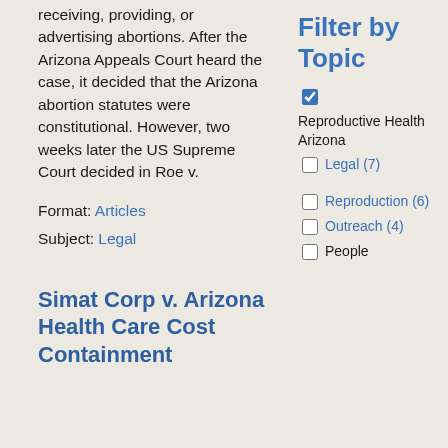receiving, providing, or advertising abortions. After the Arizona Appeals Court heard the case, it decided that the Arizona abortion statutes were constitutional. However, two weeks later the US Supreme Court decided in Roe v.
Format: Articles
Subject: Legal
Simat Corp v. Arizona Health Care Cost Containment
Filter by Topic
Reproductive Health Arizona
Legal (7)
Reproduction (6)
Outreach (4)
People